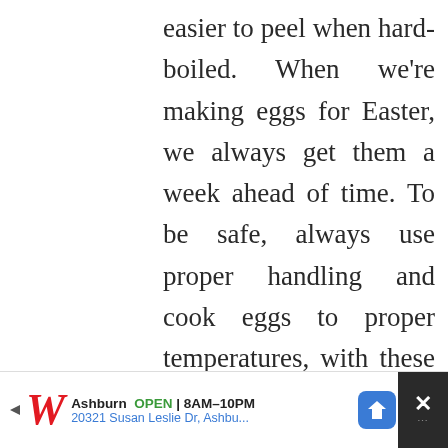easier to peel when hard-boiled. When we're making eggs for Easter, we always get them a week ahead of time. To be safe, always use proper handling and cook eggs to proper temperatures, with these tips from the Egg Safety Center.
Myth: Brown eggs are better for you than white
[Figure (other): Share button (circular white button with share icon)]
Ashburn OPEN 8AM–10PM 20321 Susan Leslie Dr, Ashbu... [Walgreens advertisement]